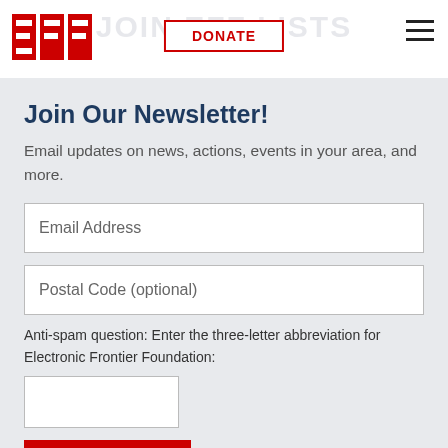[Figure (logo): EFF (Electronic Frontier Foundation) logo in red with white letters on red background blocks]
JOIN EFF LISTS
DONATE
Join Our Newsletter!
Email updates on news, actions, events in your area, and more.
Email Address
Postal Code (optional)
Anti-spam question: Enter the three-letter abbreviation for Electronic Frontier Foundation:
SUBMIT